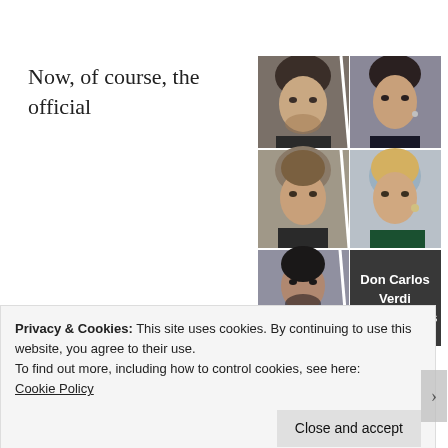Now, of course, the official
[Figure (photo): Collage of six opera singer headshots arranged in three rows of two, with Don Carlos Verdi Opéra de Paris 2017–18 label on bottom right]
Privacy & Cookies: This site uses cookies. By continuing to use this website, you agree to their use.
To find out more, including how to control cookies, see here:
Cookie Policy
Close and accept